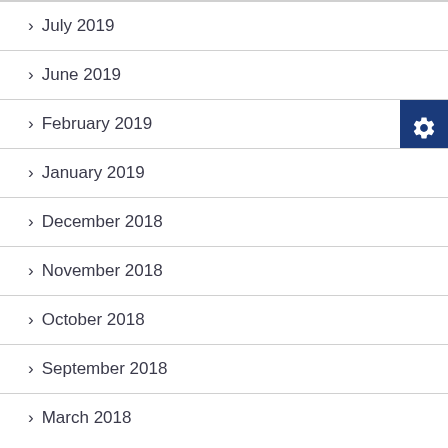July 2019
June 2019
February 2019
January 2019
December 2018
November 2018
October 2018
September 2018
March 2018